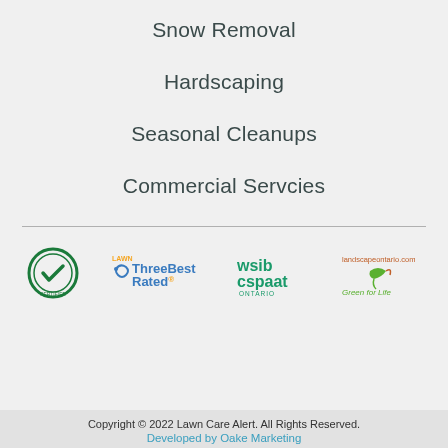Snow Removal
Hardscaping
Seasonal Cleanups
Commercial Servcies
[Figure (logo): Four certification/partner logos in a row: a green circular badge with checkmark, ThreeBest Rated logo, wsib cspaat Ontario logo, landscapeontario.com Green for Life logo]
Copyright © 2022 Lawn Care Alert. All Rights Reserved.
Developed by Oake Marketing